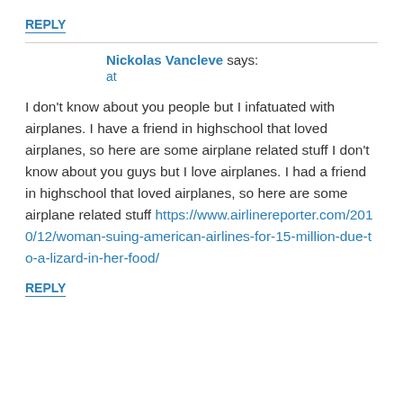REPLY
Nickolas Vancleve says:
at
I don't know about you people but I infatuated with airplanes. I have a friend in highschool that loved airplanes, so here are some airplane related stuff I don't know about you guys but I love airplanes. I had a friend in highschool that loved airplanes, so here are some airplane related stuff https://www.airlinereporter.com/2010/12/woman-suing-american-airlines-for-15-million-due-to-a-lizard-in-her-food/
REPLY